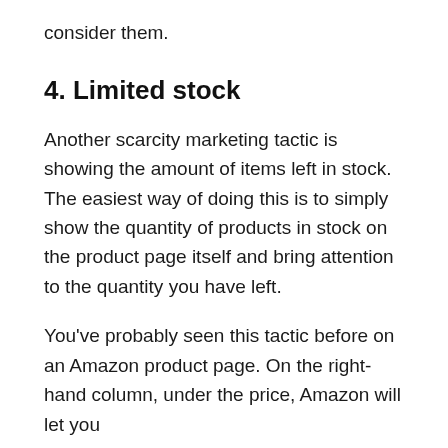consider them.
4. Limited stock
Another scarcity marketing tactic is showing the amount of items left in stock. The easiest way of doing this is to simply show the quantity of products in stock on the product page itself and bring attention to the quantity you have left.
You’ve probably seen this tactic before on an Amazon product page. On the right-hand column, under the price, Amazon will let you